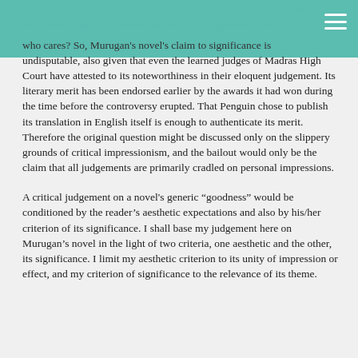substandard: literatures abound in severer heresies and blasphemies. But who cares? So, Murugan's novel's claim to significance is undisputable, also given that even the learned judges of Madras High Court have attested to its noteworthiness in their eloquent judgement. Its literary merit has been endorsed earlier by the awards it had won during the time before the controversy erupted. That Penguin chose to publish its translation in English itself is enough to authenticate its merit. Therefore the original question might be discussed only on the slippery grounds of critical impressionism, and the bailout would only be the claim that all judgements are primarily cradled on personal impressions.
A critical judgement on a novel's generic "goodness" would be conditioned by the reader's aesthetic expectations and also by his/her criterion of its significance. I shall base my judgement here on Murugan's novel in the light of two criteria, one aesthetic and the other, its significance. I limit my aesthetic criterion to its unity of impression or effect, and my criterion of significance to the relevance of its theme.